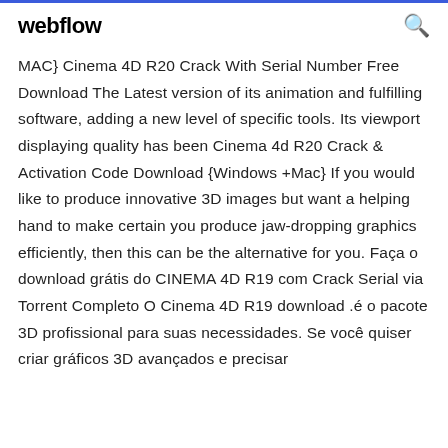webflow
MAC} Cinema 4D R20 Crack With Serial Number Free Download The Latest version of its animation and fulfilling software, adding a new level of specific tools. Its viewport displaying quality has been Cinema 4d R20 Crack & Activation Code Download {Windows +Mac} If you would like to produce innovative 3D images but want a helping hand to make certain you produce jaw-dropping graphics efficiently, then this can be the alternative for you. Faça o download grátis do CINEMA 4D R19 com Crack Serial via Torrent Completo O Cinema 4D R19 download .é o pacote 3D profissional para suas necessidades. Se você quiser criar gráficos 3D avançados e precisar